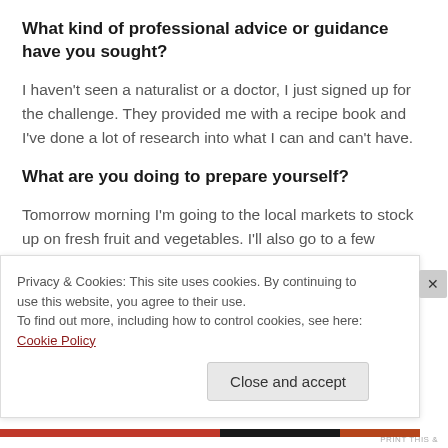What kind of professional advice or guidance have you sought?
I haven't seen a naturalist or a doctor, I just signed up for the challenge. They provided me with a recipe book and I've done a lot of research into what I can and can't have.
What are you doing to prepare yourself?
Tomorrow morning I'm going to the local markets to stock up on fresh fruit and vegetables. I'll also go to a few organic shops to grab anything else I need. I will probably
Privacy & Cookies: This site uses cookies. By continuing to use this website, you agree to their use.
To find out more, including how to control cookies, see here: Cookie Policy